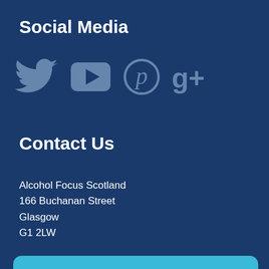Social Media
[Figure (illustration): Row of social media icons: Twitter bird, YouTube play button, Pinterest, Google+]
Contact Us
Alcohol Focus Scotland
166 Buchanan Street
Glasgow
G1 2LW
This website uses cookies to ensure you get the best experience on our website.
Decline   Got it!
Alcohol Focus Scotland is a Registered Scottish Charity (SC009538) and a Company Limited by Guarantee (Scottish Company No. SC094096).